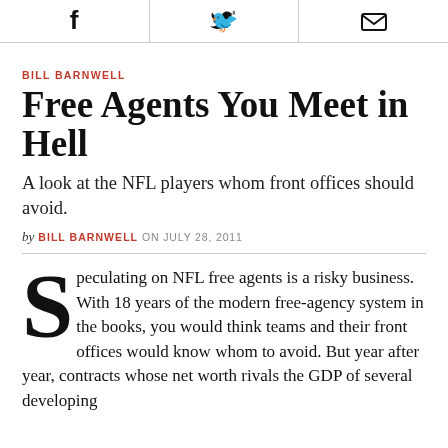[Figure (other): Social sharing icons: Facebook, Twitter, and email/share button in a row at the top of the page]
BILL BARNWELL
Free Agents You Meet in Hell
A look at the NFL players whom front offices should avoid.
by BILL BARNWELL ON JULY 28, 2011
Speculating on NFL free agents is a risky business. With 18 years of the modern free-agency system in the books, you would think teams and their front offices would know whom to avoid. But year after year, contracts whose net worth rivals the GDP of several developing